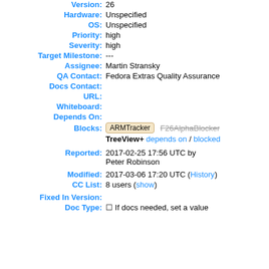Version: 26
Hardware: Unspecified
OS: Unspecified
Priority: high
Severity: high
Target Milestone: ---
Assignee: Martin Stransky
QA Contact: Fedora Extras Quality Assurance
Docs Contact:
URL:
Whiteboard:
Depends On:
Blocks: ARMTracker F26AlphaBlocker
TreeView+ depends on / blocked
Reported: 2017-02-25 17:56 UTC by Peter Robinson
Modified: 2017-03-06 17:20 UTC (History)
CC List: 8 users (show)
Fixed In Version:
Doc Type: ☐ If docs needed, set a value